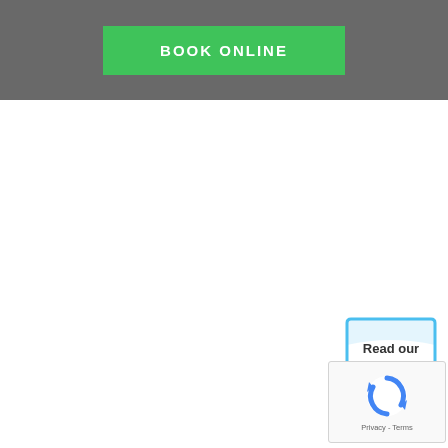BOOK ONLINE
[Figure (logo): Read our 5-star Reviews badge with blue shield shape, gold stars, and blue ribbon banner]
[Figure (logo): Google reCAPTCHA widget with spinning arrows logo and Privacy - Terms links]